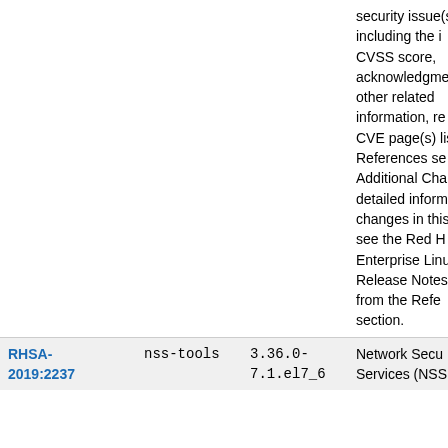| Advisory | Package | Version | Description |
| --- | --- | --- | --- |
|  |  |  | security issue(s) including the i... CVSS score, acknowledgme... other related information, re... CVE page(s) li... References se... Additional Cha... detailed inform... changes in this... see the Red H... Enterprise Linu... Release Notes... from the Refe... section. |
| RHSA-2019:2237 | nss-tools | 3.36.0-7.1.el7_6 | Network Secu... Services (NSS... |